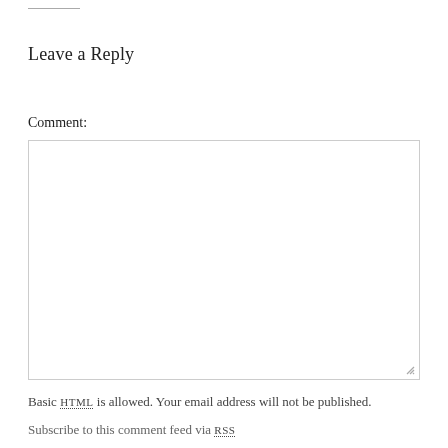Leave a Reply
Comment:
[Figure (other): Empty comment text area input box with resize handle]
Basic HTML is allowed. Your email address will not be published.
Subscribe to this comment feed via RSS